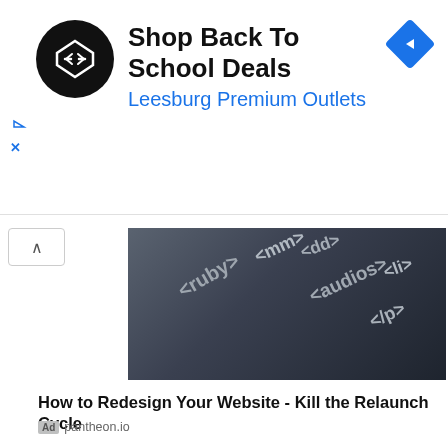[Figure (screenshot): Advertisement banner for Leesburg Premium Outlets with black circle logo containing arrows, text 'Shop Back To School Deals' and 'Leesburg Premium Outlets' in blue, blue diamond navigation icon top right, small blue play and X icons on left side]
[Figure (photo): Dark gray background with 3D metallic HTML tag text labels: <mm>, <dd>, <ruby>, <audios>, <li>, <ip> scattered at angles]
How to Redesign Your Website - Kill the Relaunch Cycle
Ad  pantheon.io